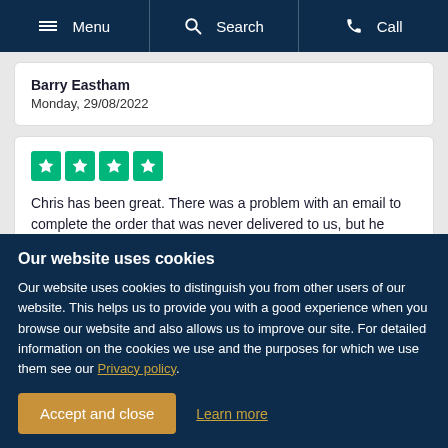Menu | Search | Call
Barry Eastham
Monday, 29/08/2022
[Figure (other): Four green Trustpilot star rating boxes]
Chris has been great. There was a problem with an email to complete the order that was never delivered to us, but he dealt with it very quickly. Would definitely recommend
Our website uses cookies
Our website uses cookies to distinguish you from other users of our website. This helps us to provide you with a good experience when you browse our website and also allows us to improve our site. For detailed information on the cookies we use and the purposes for which we use them see our Privacy policy.
Accept and close | Learn more